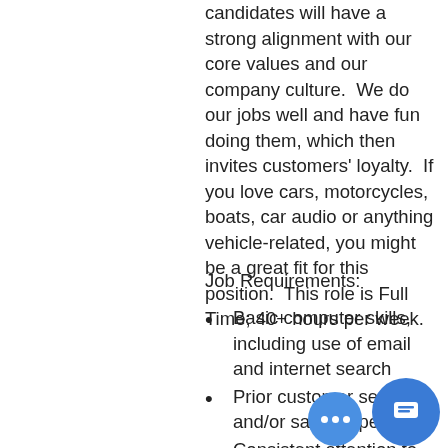candidates will have a strong alignment with our core values and our company culture.  We do our jobs well and have fun doing them, which then invites customers' loyalty.  If you love cars, motorcycles, boats, car audio or anything vehicle-related, you might be a great fit for this position.  This role is Full Time; 40+ hours per week.
Job Requirements:
Basic computer skills, including use of email and internet search
Prior customer service and/or sales experience
Consistent attention to detail
Self motivation
Valid driver's license and good driving record
Automotive or electronics...